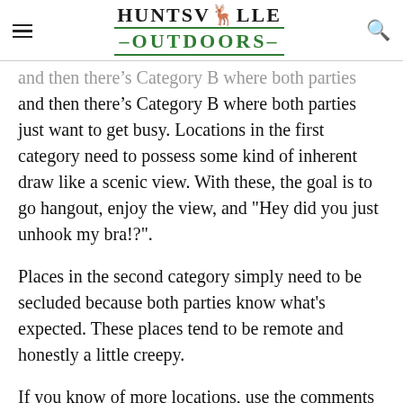HUNTSVILLE OUTDOORS
and then there's Category B where both parties just want to get busy. Locations in the first category need to possess some kind of inherent draw like a scenic view. With these, the goal is to go hangout, enjoy the view, and "Hey did you just unhook my bra!?".
Places in the second category simply need to be secluded because both parties know what's expected. These places tend to be remote and honestly a little creepy.
If you know of more locations, use the comments